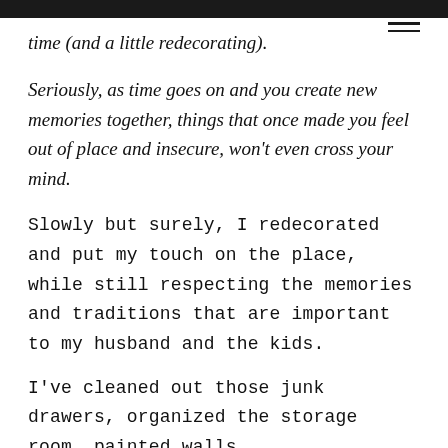time (and a little redecorating).
Seriously, as time goes on and you create new memories together, things that once made you feel out of place and insecure, won't even cross your mind.
Slowly but surely, I redecorated and put my touch on the place, while still respecting the memories and traditions that are important to my husband and the kids.
I've cleaned out those junk drawers, organized the storage room, painted walls,